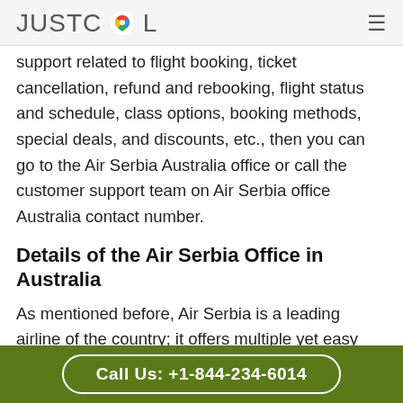JUSTCOL
support related to flight booking, ticket cancellation, refund and rebooking, flight status and schedule, class options, booking methods, special deals, and discounts, etc., then you can go to the Air Serbia Australia office or call the customer support team on Air Serbia office Australia contact number.
Details of the Air Serbia Office in Australia
As mentioned before, Air Serbia is a leading airline of the country; it offers multiple yet easy ways to connect with its dedicated team
Call Us: +1-844-234-6014